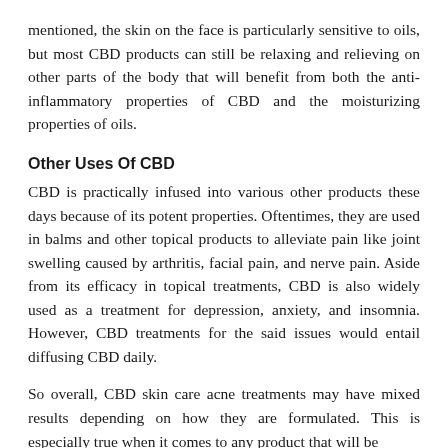mentioned, the skin on the face is particularly sensitive to oils, but most CBD products can still be relaxing and relieving on other parts of the body that will benefit from both the anti-inflammatory properties of CBD and the moisturizing properties of oils.
Other Uses Of CBD
CBD is practically infused into various other products these days because of its potent properties. Oftentimes, they are used in balms and other topical products to alleviate pain like joint swelling caused by arthritis, facial pain, and nerve pain. Aside from its efficacy in topical treatments, CBD is also widely used as a treatment for depression, anxiety, and insomnia. However, CBD treatments for the said issues would entail diffusing CBD daily.
So overall, CBD skin care acne treatments may have mixed results depending on how they are formulated. This is especially true when it comes to any product that will be